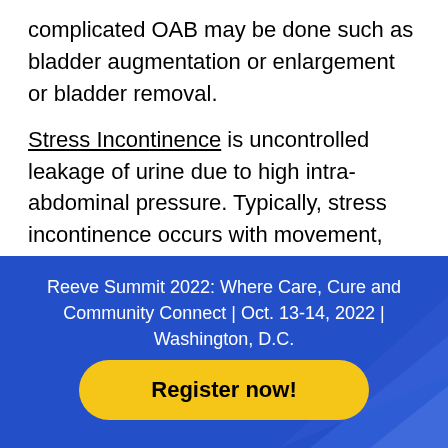complicated OAB may be done such as bladder augmentation or enlargement or bladder removal.
Stress Incontinence is uncontrolled leakage of urine due to high intra-abdominal pressure. Typically, stress incontinence occurs with movement, heavy lifting, bending over, running, coughing, laughing, or sneezing. It is more common in women who have had multiple vaginal deliveries, hysterectomy or are post-menopausal. In men, it occurs more often after
Reeve Summit 2022: Where Care, Cure and Community Connect | Oct. 13-14, 2022 | Washington, D.C.
Register now!